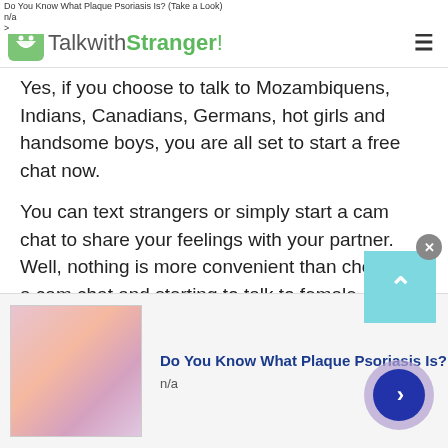Do You Know What Plaque Psoriasis Is? (Take a Look)
n/a
>
[Figure (logo): TalkwithStranger! logo with green smiley face chat bubble icon]
Yes, if you choose to talk to Mozambiquens, Indians, Canadians, Germans, hot girls and handsome boys, you are all set to start a free chat now.
You can text strangers or simply start a cam chat to share your feelings with your partner. Well, nothing is more convenient than choosing a cam chat and starting to talk to female strangers online. TWS love chat option is an open invitation for all who want to chat with hot girls or talk to strangers in Mozambique.
[Figure (photo): Advertisement image showing skin condition for Plaque Psoriasis ad]
Do You Know What Plaque Psoriasis Is?
n/a